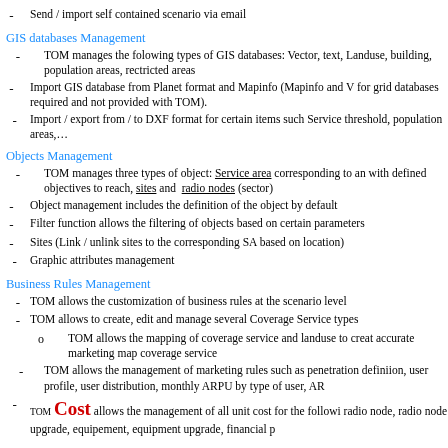Send / import self contained scenario via email
GIS databases Management
TOM manages the folowing types of GIS databases: Vector, text, Landuse, building, population areas, rectricted areas
Import GIS database from Planet format and Mapinfo (Mapinfo and V for grid databases required and not provided with TOM).
Import / export from / to DXF format for certain items such Service threshold, population areas,…
Objects Management
TOM manages three types of object: Service area corresponding to an with defined objectives to reach, sites and radio nodes (sector)
Object management includes the definition of the object by default
Filter function allows the filtering of objects based on certain parameters
Sites (Link / unlink sites to the corresponding SA based on location)
Graphic attributes management
Business Rules Management
TOM allows the customization of business rules at the scenario level
TOM allows to create, edit and manage several Coverage Service types
TOM allows the mapping of coverage service and landuse to create accurate marketing map coverage service
TOM allows the management of marketing rules such as penetration definiion, user profile, user distribution, monthly ARPU by type of user, AR
TOM Cost allows the management of all unit cost for the following radio node, radio node upgrade, equipement, equipment upgrade, financial p